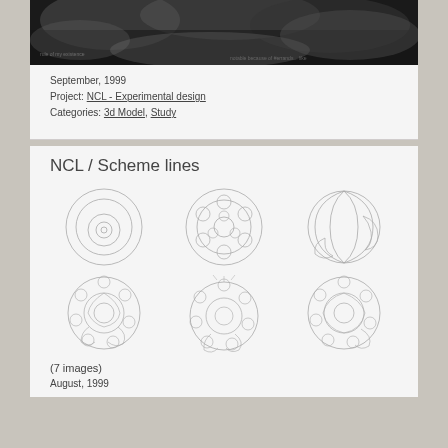[Figure (photo): Black and white photograph, appears to be a landscape or nature scene with clouds or terrain, with overlaid text]
September, 1999
Project: NCL - Experimental design
Categories: 3d Model, Study
NCL / Scheme lines
[Figure (illustration): Grid of 6 circular line diagrams/scheme drawings showing progressive development of a circular design pattern. Three diagrams in top row: concentric circles, circles packed inside circle, crescent/yin-yang shapes. Three diagrams in bottom row: more complex organic circular patterns with curls and spirals.]
(7 images)
August, 1999